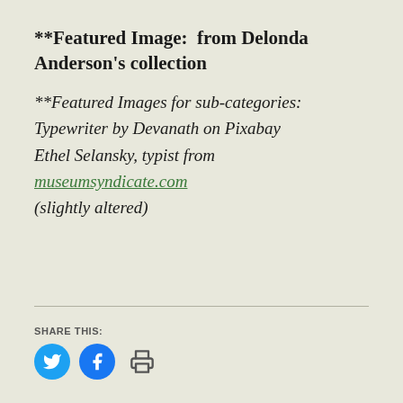**Featured Image:  from Delonda Anderson's collection
**Featured Images for sub-categories:
Typewriter by Devanath on Pixabay
Ethel Selansky, typist from museumsyndicate.com (slightly altered)
SHARE THIS: